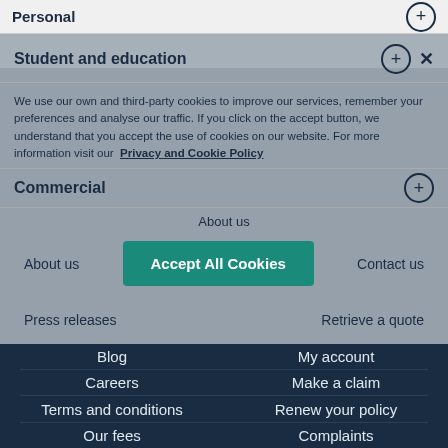Personal
Student and education
We use our own and third-party cookies to improve our services, remember your preferences and analyse our traffic. If you click on the accept button, we understand that you accept the use of cookies on our website. For more information visit our Privacy and Cookie Policy
Commercial
About us
About us
Contact us
Press releases
Retrieve a quote
Blog
My account
Careers
Make a claim
Terms and conditions
Renew your policy
Our fees
Complaints